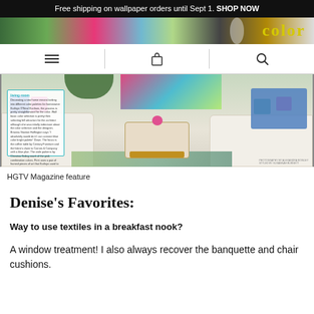Free shipping on wallpaper orders until Sept 1. SHOP NOW
[Figure (photo): Website navigation bar with hamburger menu, shopping bag icon, and search icon]
[Figure (photo): HGTV Magazine feature photo showing a bright living room with white sofas, blue throw blanket, colorful pillows, gold coffee table with pink flowers, patterned rug, and colorful artwork]
HGTV Magazine feature
Denise's Favorites:
Way to use textiles in a breakfast nook?
A window treatment!  I also always recover the banquette and chair cushions.